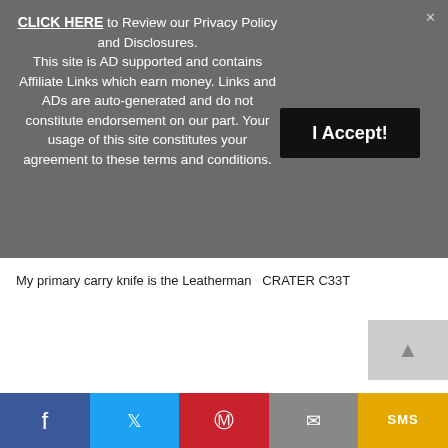CLICK HERE to Review our Privacy Policy and Disclosures. This site is AD supported and contains Affiliate Links which earn money. Links and ADs are auto-generated and do not constitute endorsement on our part. Your usage of this site constitutes your agreement to these terms and conditions.
I Accept!
My primary carry knife is the Leatherman  CRATER C33T
f
SMS